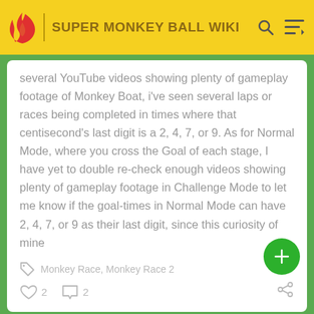SUPER MONKEY BALL WIKI
several YouTube videos showing plenty of gameplay footage of Monkey Boat, i've seen several laps or races being completed in times where that centisecond's last digit is a 2, 4, 7, or 9. As for Normal Mode, where you cross the Goal of each stage, I have yet to double re-check enough videos showing plenty of gameplay footage in Challenge Mode to let me know if the goal-times in Normal Mode can have 2, 4, 7, or 9 as their last digit, since this curiosity of mine
Monkey Race, Monkey Race 2
2  2